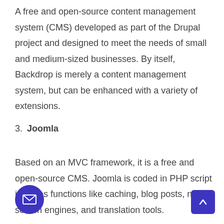A free and open-source content management system (CMS) developed as part of the Drupal project and designed to meet the needs of small and medium-sized businesses. By itself, Backdrop is merely a content management system, but can be enhanced with a variety of extensions.
3. Joomla
Based on an MVC framework, it is a free and open-source CMS. Joomla is coded in PHP script includes functions like caching, blog posts, needs, search engines, and translation tools.